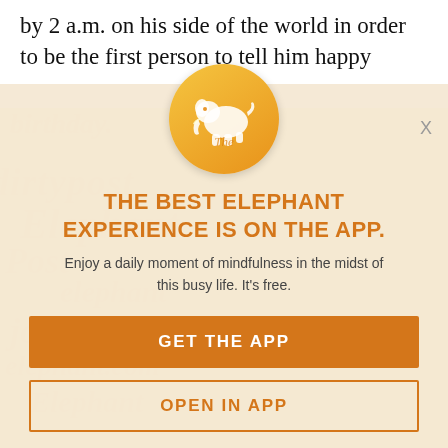by 2 a.m. on his side of the world in order to be the first person to tell him happy birthday.
[Figure (logo): Elephant Journal app logo: golden/orange circle with white elephant silhouette and the word 'The' below]
THE BEST ELEPHANT EXPERIENCE IS ON THE APP.
Enjoy a daily moment of mindfulness in the midst of this busy life. It's free.
GET THE APP
OPEN IN APP